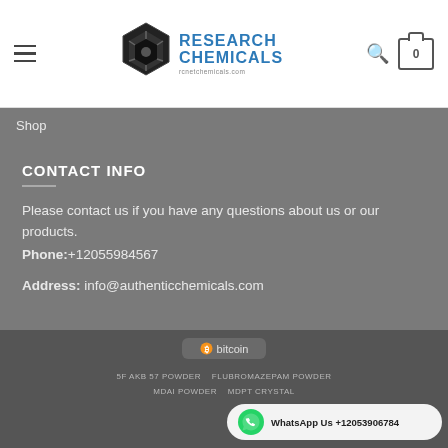[Figure (logo): Research Chemicals logo with hexagonal icon and blue text, rcnetchemicals.com]
Shop
CONTACT INFO
Please contact us if you have any questions about us or our products.
Phone:+12055984567
Address: info@authenticchemicals.com
[Figure (logo): Bitcoin payment badge]
5F AKB 57 POWDER   FLUBROMAZEPAM POWDER   MDAI POWDER   MDPT CRYSTAL
[Figure (infographic): WhatsApp Us +12053906784 button with green WhatsApp icon]